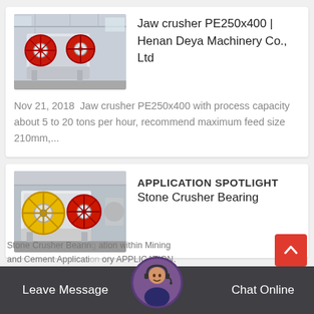[Figure (photo): Photo of a large jaw crusher machine (PE250x400) in an industrial factory setting, painted white with red/yellow flywheel components]
Jaw crusher PE250x400 | Henan Deya Machinery Co., Ltd
Nov 21, 2018  Jaw crusher PE250x400 with process capacity about 5 to 20 tons per hour, recommend maximum feed size 210mm,...
[Figure (photo): Photo of stone crusher machine with large yellow and red flywheel bearings in factory]
APPLICATION SPOTLIGHT
Stone Crusher Bearing
Stone Crusher Bearing application within Mining and Cement Application ory APPLICATION.
Leave Message    Chat Online